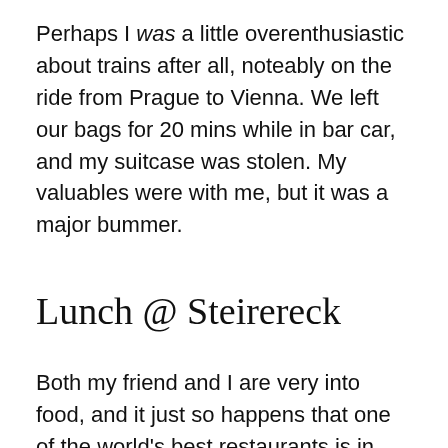Perhaps I was a little overenthusiastic about trains after all, noteably on the ride from Prague to Vienna. We left our bags for 20 mins while in bar car, and my suitcase was stolen. My valuables were with me, but it was a major bummer.
Lunch @ Steirereck
Both my friend and I are very into food, and it just so happens that one of the world's best restaurants is in Vienna. We had a 5 course, 4 hour lunch at Steirereck, and it was amazing. Here's some cheese that blew me away, in